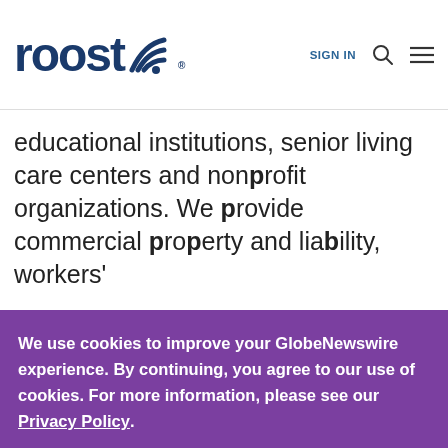roost [logo with wifi icon] | SIGN IN [search icon] [menu icon]
educational institutions, senior living care centers and nonprofit organizations. We provide commercial property and liability, workers'
We use cookies to improve your GlobeNewswire experience. By continuing, you agree to our use of cookies. For more information, please see our Privacy Policy.
ACCEPT